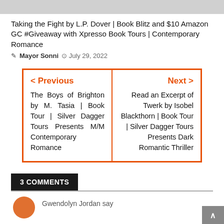[Figure (other): Gray bar at top of page]
Taking the Fight by L.P. Dover | Book Blitz and $10 Amazon GC #Giveaway with Xpresso Book Tours | Contemporary Romance
Mayor Sonni  July 29, 2022
< Previous
The Boys of Brighton by M. Tasia | Book Tour | Silver Dagger Tours Presents M/M Contemporary Romance

Next >
Read an Excerpt of Twerk by Isobel Blackthorn | Book Tour | Silver Dagger Tours Presents Dark Romantic Thriller
3 COMMENTS
Gwendolyn Jordan say